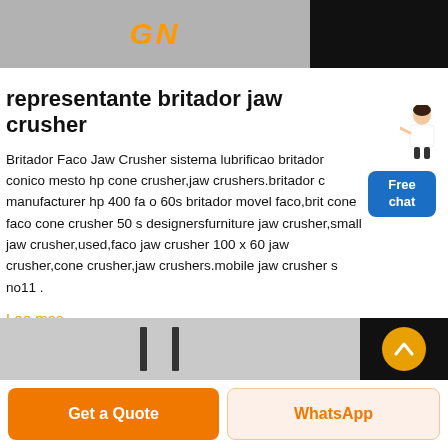[Figure (photo): Top banner image with dark background and orange/yellow stylized text, partially visible]
representante britador jaw crusher
Britador Faco Jaw Crusher sistema lubrificao britador conico mesto hp cone crusher,jaw crushers.britador c manufacturer hp 400 fa o 60s britador movel faco,brit cone faco cone crusher 50 s designersfurniture jaw crusher,small jaw crusher,used,faco jaw crusher 100 x 60 jaw crusher,cone crusher,jaw crushers.mobile jaw crusher s no11 .
Lee mas
[Figure (photo): Bottom banner image showing gray and dark industrial imagery with scroll-up button]
[Figure (illustration): Free chat widget with blue bubble and standing customer service figure]
Get a Quote
WhatsApp